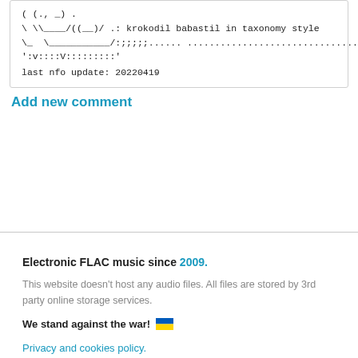( (., _) .
\ \\____/((__)/ .: krokodil babastil in taxonomy style
\_  \___________/:;;;;;...... .............................................
':v::::V::::::::'
last nfo update: 20220419
Add new comment
Electronic FLAC music since 2009.
This website doesn't host any audio files. All files are stored by 3rd party online storage services.
We stand against the war! 🇺🇦
Privacy and cookies policy.